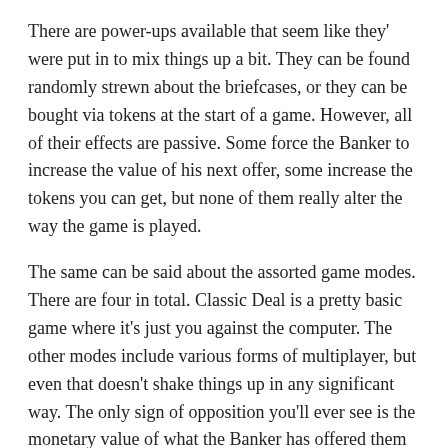There are power-ups available that seem like they' were put in to mix things up a bit. They can be found randomly strewn about the briefcases, or they can be bought via tokens at the start of a game. However, all of their effects are passive. Some force the Banker to increase the value of his next offer, some increase the tokens you can get, but none of them really alter the way the game is played.
The same can be said about the assorted game modes. There are four in total. Classic Deal is a pretty basic game where it's just you against the computer. The other modes include various forms of multiplayer, but even that doesn't shake things up in any significant way. The only sign of opposition you'll ever see is the monetary value of what the Banker has offered them in comparison to what he's offered you. Trying to get more money than them sounds like it should add a whole new dynamic to the game, but it really doesn't. It's still all just luck of the draw.
Conclusion: Not a Bad Deal
At the end of the day, Deal or No Deal is a pretty inoffensive